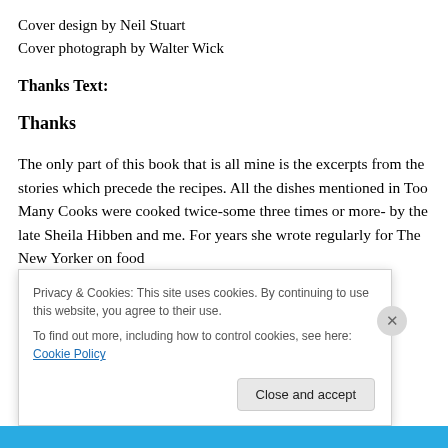Cover design by Neil Stuart
Cover photograph by Walter Wick
Thanks Text:
Thanks
The only part of this book that is all mine is the excerpts from the stories which precede the recipes. All the dishes mentioned in Too Many Cooks were cooked twice-some three times or more- by the late Sheila Hibben and me. For years she wrote regularly for The New Yorker on food
Privacy & Cookies: This site uses cookies. By continuing to use this website, you agree to their use.
To find out more, including how to control cookies, see here: Cookie Policy